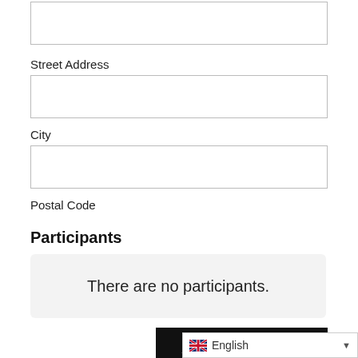Street Address
City
Postal Code
Participants
There are no participants.
ADD PARTICIPANT
English